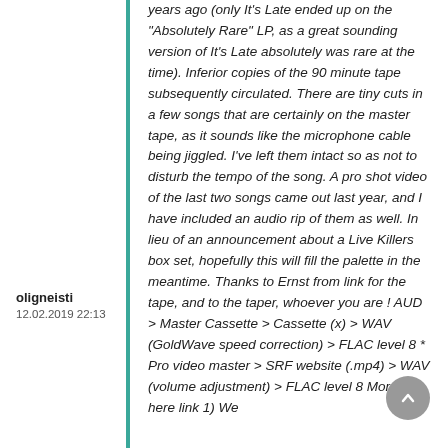years ago (only It's Late ended up on the "Absolutely Rare" LP, as a great sounding version of It's Late absolutely was rare at the time). Inferior copies of the 90 minute tape subsequently circulated. There are tiny cuts in a few songs that are certainly on the master tape, as it sounds like the microphone cable being jiggled. I've left them intact so as not to disturb the tempo of the song. A pro shot video of the last two songs came out last year, and I have included an audio rip of them as well. In lieu of an announcement about a Live Killers box set, hopefully this will fill the palette in the meantime. Thanks to Ernst from link for the tape, and to the taper, whoever you are ! AUD > Master Cassette > Cassette (x) > WAV (GoldWave speed correction) > FLAC level 8 * Pro video master > SRF website (.mp4) > WAV (volume adjustment) > FLAC level 8 More info here link 1) We
oligneisti
12.02.2019 22:13